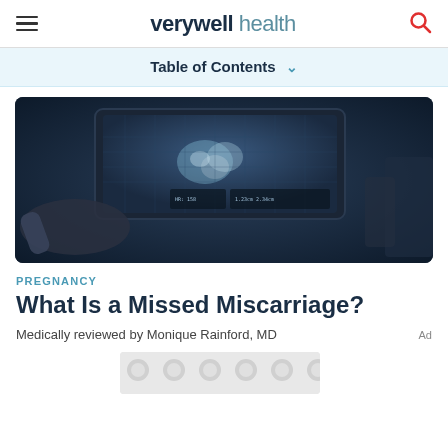verywell health
Table of Contents
[Figure (photo): Ultrasound monitor screen showing a fetal ultrasound image in a dark clinical setting, with an ultrasound probe visible in the foreground.]
PREGNANCY
What Is a Missed Miscarriage?
Medically reviewed by Monique Rainford, MD
[Figure (other): Advertisement banner with repeating circle pattern background.]